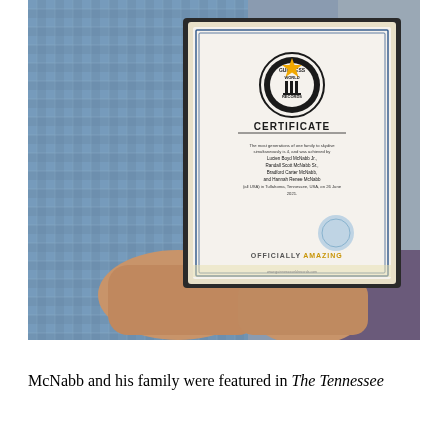[Figure (photo): An elderly person's hands holding a framed Guinness World Records certificate. The certificate shows a circular GWR logo with a star, reads 'CERTIFICATE' and text about the most generations of one family to skydive simultaneously being 4, achieved by Lucien Boyd McNabb Jr., Randall Scott McNabb Sr., Bradford Carter McNabb, and Hannah Renee McNabb (all USA) in Tullahoma, Tennessee, USA, on 26 June 2021. The certificate ends with 'OFFICIALLY AMAZING' in gold text. The person is wearing a blue plaid shirt.]
McNabb and his family were featured in The Tennessee